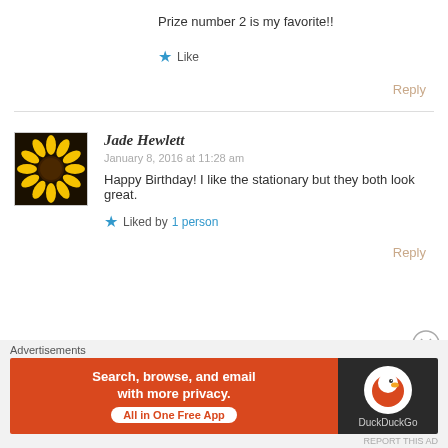Prize number 2 is my favorite!!
★ Like
Reply
Jade Hewlett
January 8, 2016 at 11:28 am
Happy Birthday! I like the stationary but they both look great.
★ Liked by 1 person
Reply
[Figure (other): DuckDuckGo advertisement banner: orange left panel with text 'Search, browse, and email with more privacy. All in One Free App' and dark right panel with DuckDuckGo logo]
Advertisements